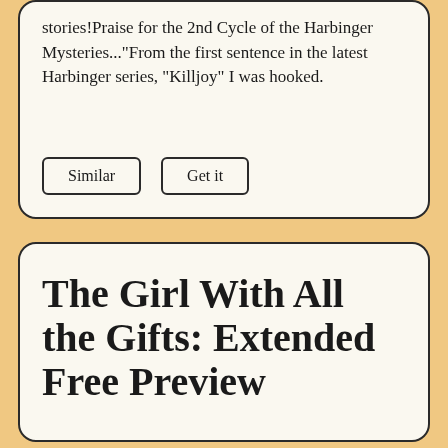stories!Praise for the 2nd Cycle of the Harbinger Mysteries..."From the first sentence in the latest Harbinger series, "Killjoy" I was hooked.
Similar   Get it
The Girl With All the Gifts: Extended Free Preview
horror
fiction
sci-fi
science-fiction
M.R. Carey - 2014
Melanie is a very special girl